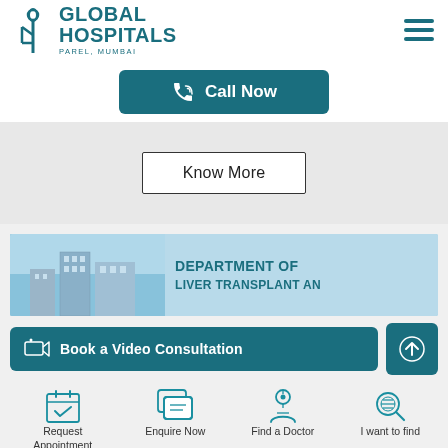[Figure (logo): Global Hospitals Parel Mumbai logo with teal stylized G icon]
Call Now
Know More
[Figure (screenshot): Department of Liver Transplant And... banner with hospital building photo and teal text]
Book a Video Consultation
Request Appointment
Enquire Now
Find a Doctor
I want to find